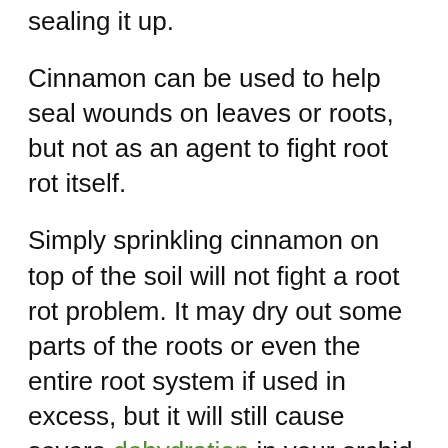sealing it up.
Cinnamon can be used to help seal wounds on leaves or roots, but not as an agent to fight root rot itself.
Simply sprinkling cinnamon on top of the soil will not fight a root rot problem. It may dry out some parts of the roots or even the entire root system if used in excess, but it will still cause severe dehydration in your orchid.
The fix to a root rot problem — assuming that the plant is still salvageable — is to